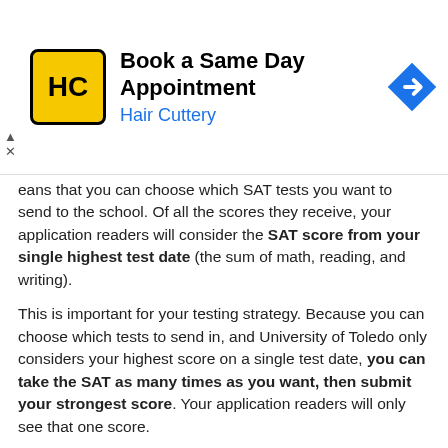[Figure (other): Hair Cuttery advertisement banner with logo, 'Book a Same Day Appointment' headline, and navigation arrow icon]
eans that you can choose which SAT tests you want to send to the school. Of all the scores they receive, your application readers will consider the SAT score from your single highest test date (the sum of math, reading, and writing).
This is important for your testing strategy. Because you can choose which tests to send in, and University of Toledo only considers your highest score on a single test date, you can take the SAT as many times as you want, then submit your strongest score. Your application readers will only see that one score.
Therefore, if your SAT score is currently below a 1020, we strongly recommend that you consider prepping for the SAT and retaking it. You don't have much to lose, and you can potentially raise your score and significantly boost your chances of getting in.
Exclusive: Want to learn how to improve your SAT score by 160 points?